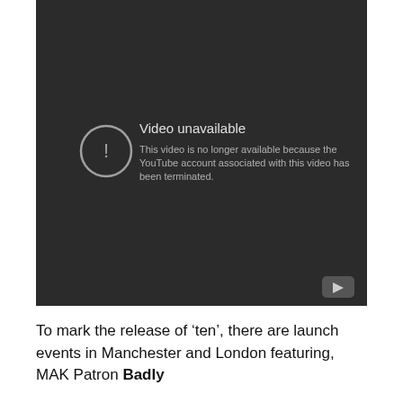[Figure (screenshot): YouTube video unavailable error screen. Dark background with circle exclamation icon, text 'Video unavailable' and 'This video is no longer available because the YouTube account associated with this video has been terminated.' A YouTube play button icon appears in the bottom right corner.]
To mark the release of ‘ten’, there are launch events in Manchester and London featuring, MAK Patron Badly